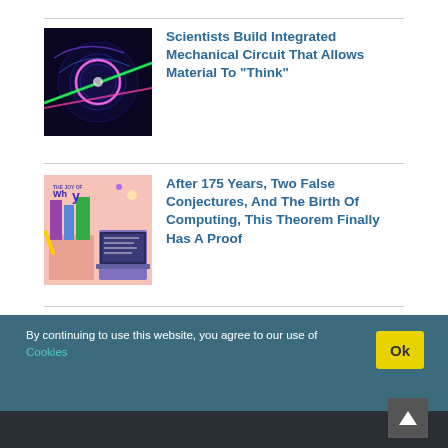[Figure (photo): CD/disc with laser beams and glowing purple ring on dark background]
Scientists Build Integrated Mechanical Circuit That Allows Material To “Think”
[Figure (illustration): Colorful illustrated collage with books, laptop, and text 'The Joy of Why' on pink background]
After 175 Years, Two False Conjectures, And The Birth Of Computing, This Theorem Finally Has A Proof
By continuing to use this website, you agree to our use of Cookies
About Us   Disclaimer